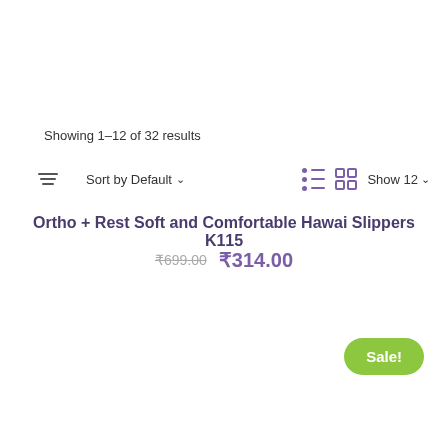Showing 1–12 of 32 results
[Figure (screenshot): Toolbar with filter icon, Sort by Default dropdown, list view icon, grid view icon, and Show 12 dropdown]
Ortho + Rest Soft and Comfortable Hawai Slippers K115
₹699.00 ₹314.00
Sale!